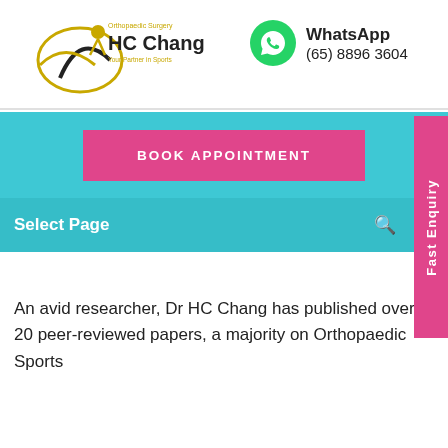[Figure (logo): HC Chang Orthopaedic Surgery logo with tagline 'Your Partner in Sports']
WhatsApp
(65) 8896 3604
BOOK APPOINTMENT
Select Page
Fast Enquiry
An avid researcher, Dr HC Chang has published over 20 peer-reviewed papers, a majority on Orthopaedic Sports